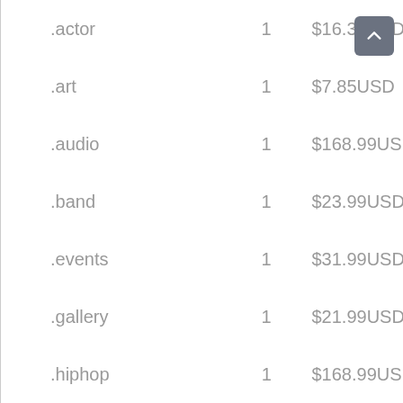| Domain | Qty | Price |
| --- | --- | --- |
| .actor | 1 | $16.32USD |
| .art | 1 | $7.85USD |
| .audio | 1 | $168.99USD |
| .band | 1 | $23.99USD |
| .events | 1 | $31.99USD |
| .gallery | 1 | $21.99USD |
| .hiphop | 1 | $168.99USD |